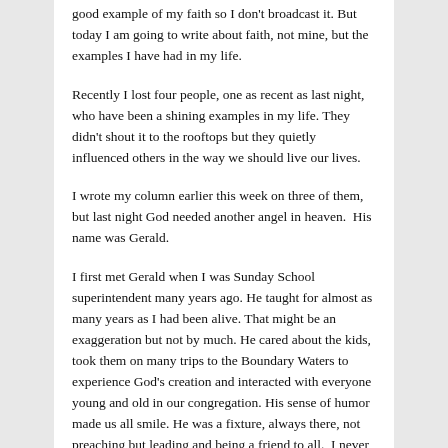good example of my faith so I don't broadcast it. But today I am going to write about faith, not mine, but the examples I have had in my life.
Recently I lost four people, one as recent as last night, who have been a shining examples in my life. They didn't shout it to the rooftops but they quietly influenced others in the way we should live our lives.
I wrote my column earlier this week on three of them, but last night God needed another angel in heaven.  His name was Gerald.
I first met Gerald when I was Sunday School superintendent many years ago. He taught for almost as many years as I had been alive. That might be an exaggeration but not by much. He cared about the kids, took them on many trips to the Boundary Waters to experience God's creation and interacted with everyone young and old in our congregation. His sense of humor made us all smile. He was a fixture, always there, not preaching but leading and being a friend to all.  I never